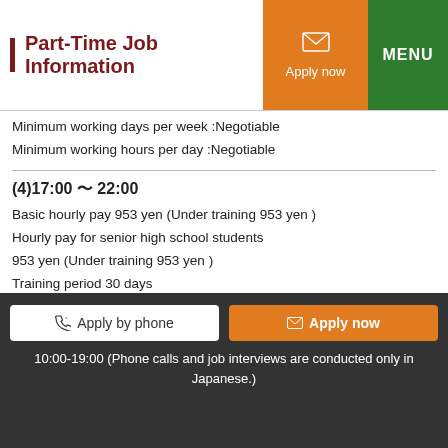Part-Time Job Information | Apply now | MENU
Minimum working days per week :Negotiable
Minimum working hours per day :Negotiable
(4)17:00 〜 22:00
Basic hourly pay 953 yen (Under training 953 yen )
Hourly pay for senior high school students
953 yen (Under training 953 yen )
Training period 30 days
Minimum working days per week :Negotiable
Minimum working hours per day :Negotiable
(5)22:00 〜 6:00
Basic hourly pay 1,191 yen (Under training 1,191 yen )
Apply by phone | Apply now | 10:00-19:00 (Phone calls and job interviews are conducted only in Japanese.)